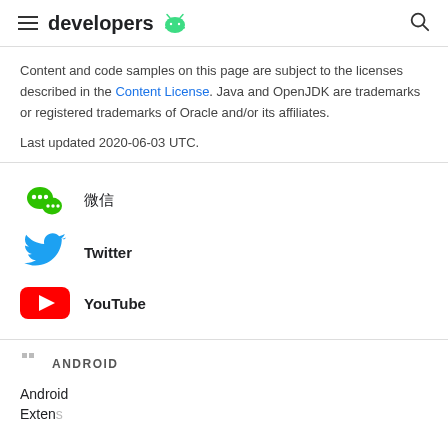developers
Content and code samples on this page are subject to the licenses described in the Content License. Java and OpenJDK are trademarks or registered trademarks of Oracle and/or its affiliates.

Last updated 2020-06-03 UTC.
[Figure (logo): WeChat icon - two green speech bubbles with dots]
微信
[Figure (logo): Twitter bird logo in blue]
Twitter
[Figure (logo): YouTube red play button logo]
YouTube
[Figure (logo): Android logo small icon]
ANDROID
Android
Extensions